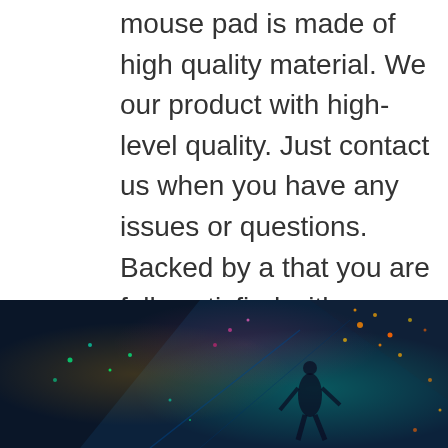mouse pad is made of high quality material. We our product with high-level quality. Just contact us when you have any issues or questions. Backed by a that you are fully satisfied with our product or receive your money back.
$12.99 ✓Prime
Buy on Amazon
[Figure (photo): Dark fantasy/gaming scene with neon-colored elements, showing a figure surrounded by glowing lights in dark blue/teal environment, partially visible at the bottom of the page.]